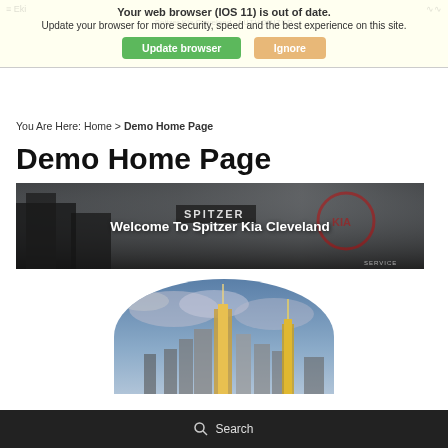Your web browser (iOS 11) is out of date. Update your browser for more security, speed and the best experience on this site.
Update browser | Ignore
You Are Here: Home > Demo Home Page
Demo Home Page
[Figure (photo): Banner image showing Spitzer Kia dealership exterior with text 'Welcome To Spitzer Kia Cleveland']
[Figure (photo): Circular cropped aerial photo of Cleveland city skyline with tall buildings against a cloudy blue sky]
Search